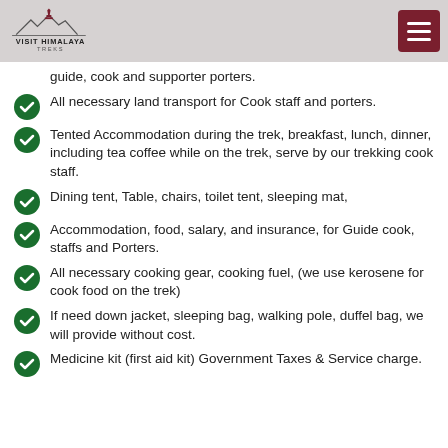VISIT HIMALAYA TREKS
guide, cook and supporter porters.
All necessary land transport for Cook staff and porters.
Tented Accommodation during the trek, breakfast, lunch, dinner, including tea coffee while on the trek, serve by our trekking cook staff.
Dining tent, Table, chairs, toilet tent, sleeping mat,
Accommodation, food, salary, and insurance, for Guide cook, staffs and Porters.
All necessary cooking gear, cooking fuel, (we use kerosene for cook food on the trek)
If need down jacket, sleeping bag, walking pole, duffel bag, we will provide without cost.
Medicine kit (first aid kit) Government Taxes & Service charge.